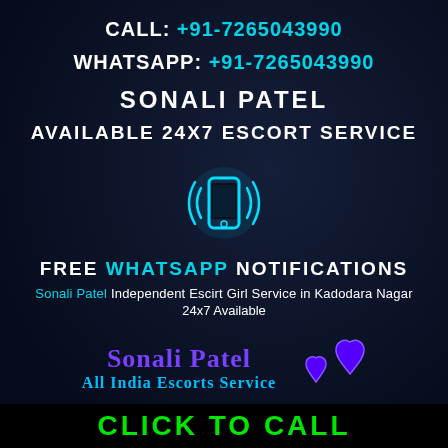CALL: +91-7265043990
WHATSAPP: +91-7265043990
SONALI PATEL
AVAILABLE 24X7 ESCORT SERVICE
[Figure (illustration): Glowing phone icon with vibration lines]
FREE WHATSAPP NOTIFICATIONS
Sonali Patel Independent Escirt Girl Service in Kadodara Nagar 24x7 Available
[Figure (logo): Sonali Patel All India Escorts Service logo with blue hearts]
CLICK TO CALL